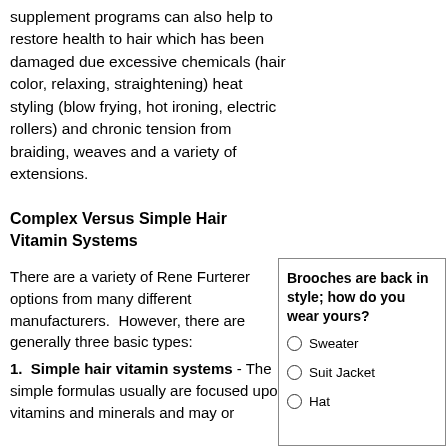supplement programs can also help to restore health to hair which has been damaged due excessive chemicals (hair color, relaxing, straightening) heat styling (blow frying, hot ironing, electric rollers) and chronic tension from braiding, weaves and a variety of extensions.
Complex Versus Simple Hair Vitamin Systems
There are a variety of Rene Furterer options from many different manufacturers.  However, there are generally three basic types:
1.  Simple hair vitamin systems - The simple formulas usually are focused upon vitamins and minerals and may or
[Figure (other): Overlay box with bold title 'Brooches are back in style; how do you wear yours?' and three radio button options: Sweater, Suit Jacket, Hat]